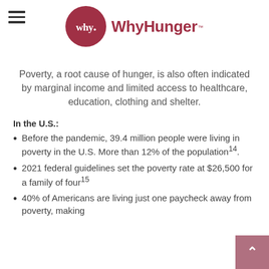WhyHunger
Poverty, a root cause of hunger, is also often indicated by marginal income and limited access to healthcare, education, clothing and shelter.
In the U.S.:
Before the pandemic, 39.4 million people were living in poverty in the U.S. More than 12% of the population¹⁴.
2021 federal guidelines set the poverty rate at $26,500 for a family of four¹⁵
40% of Americans are living just one paycheck away from poverty, making